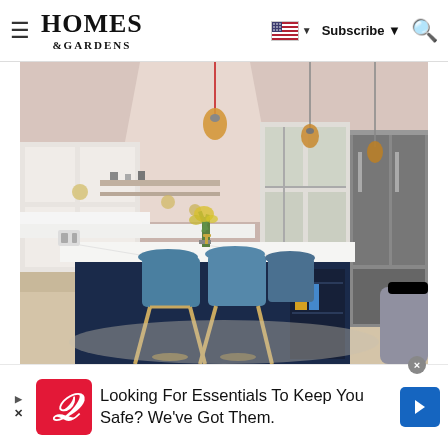HOMES & GARDENS — Subscribe
[Figure (photo): Interior kitchen photo showing a large navy blue kitchen island with white marble countertop, three blue modern bar stools with wooden legs, pendant lights hanging from ceiling, white cabinetry, stainless steel appliances including a large refrigerator and oven, pink-toned walls, and a vase of yellow flowers on the island.]
Looking For Essentials To Keep You Safe? We've Got Them.